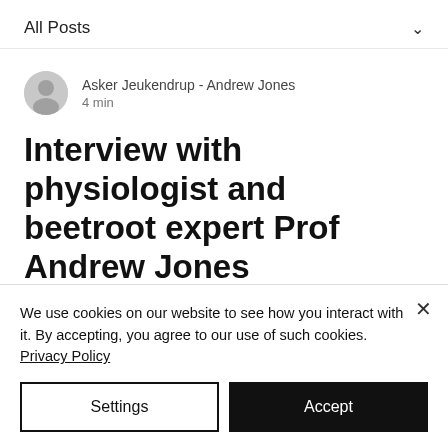All Posts
Asker Jeukendrup - Andrew Jones
4 min
Interview with physiologist and beetroot expert Prof Andrew Jones
Here is an interview with one of the
We use cookies on our website to see how you interact with it. By accepting, you agree to our use of such cookies. Privacy Policy